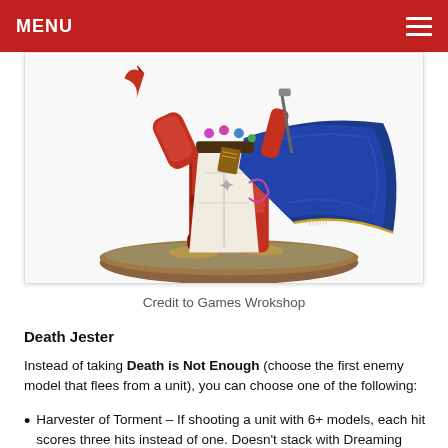MENU
[Figure (photo): A painted Warhammer miniature figure (Death Jester) from the lower torso down, showing red armor legs, white robes, and a flowing blue cape with gold script, standing on a round brown base with grass texture.]
Credit to Games Wrokshop
Death Jester
Instead of taking Death is Not Enough (choose the first enemy model that flees from a unit), you can choose one of the following:
Harvester of Torment – If shooting a unit with 6+ models, each hit scores three hits instead of one. Doesn't stack with Dreaming